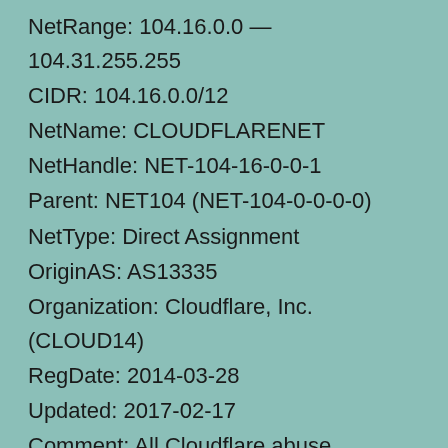NetRange: 104.16.0.0 — 104.31.255.255
CIDR: 104.16.0.0/12
NetName: CLOUDFLARENET
NetHandle: NET-104-16-0-0-1
Parent: NET104 (NET-104-0-0-0-0)
NetType: Direct Assignment
OriginAS: AS13335
Organization: Cloudflare, Inc. (CLOUD14)
RegDate: 2014-03-28
Updated: 2017-02-17
Comment: All Cloudflare abuse reporting can be done via https://www.cloudflare.com/abuse
Ref: https://rdap.arin.net/registry/ip/104.16.0.0